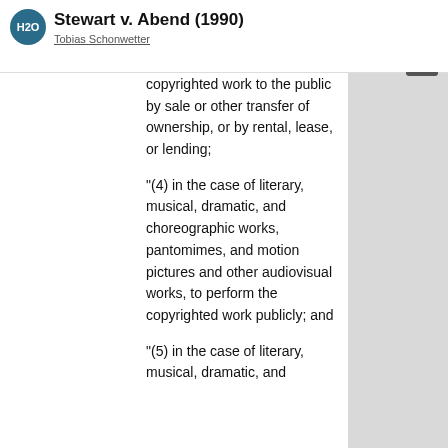Stewart v. Abend (1990)
Tobias Schonwetter
ANNOTATION DISPLAY
copyrighted work to the public by sale or other transfer of ownership, or by rental, lease, or lending;
"(4) in the case of literary, musical, dramatic, and choreographic works, pantomimes, and motion pictures and other audiovisual works, to perform the copyrighted work publicly; and
"(5) in the case of literary, musical, dramatic, and